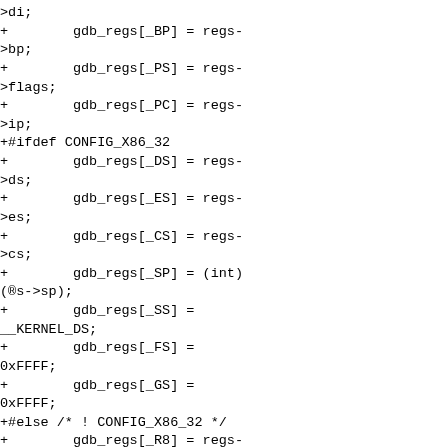>di;
+        gdb_regs[_BP] = regs->bp;
+        gdb_regs[_PS] = regs->flags;
+        gdb_regs[_PC] = regs->ip;
+#ifdef CONFIG_X86_32
+        gdb_regs[_DS] = regs->ds;
+        gdb_regs[_ES] = regs->es;
+        gdb_regs[_CS] = regs->cs;
+        gdb_regs[_SP] = (int)(&regs->sp);
+        gdb_regs[_SS] = __KERNEL_DS;
+        gdb_regs[_FS] = 0xFFFF;
+        gdb_regs[_GS] = 0xFFFF;
+#else /* ! CONFIG_X86_32 */
+        gdb_regs[_R8] = regs->r8;
+        gdb_regs[_R9] = regs->r9;
+        gdb_regs[_R10] = regs->r10;
+        gdb_regs[_R11] = regs->r11;